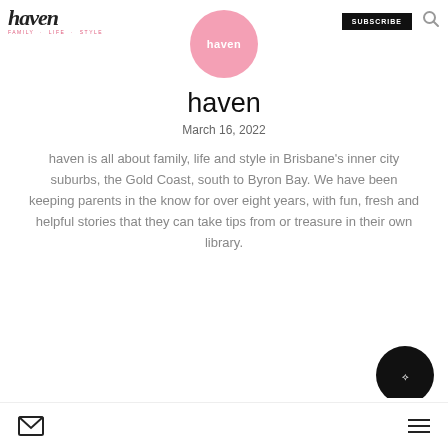haven | FAMILY · LIFE · STYLE | SUBSCRIBE
[Figure (logo): Pink circular haven logo with white text 'haven' inside]
haven
March 16, 2022
haven is all about family, life and style in Brisbane's inner city suburbs, the Gold Coast, south to Byron Bay. We have been keeping parents in the know for over eight years, with fun, fresh and helpful stories that they can take tips from or treasure in their own library.
Mail icon | Menu icon